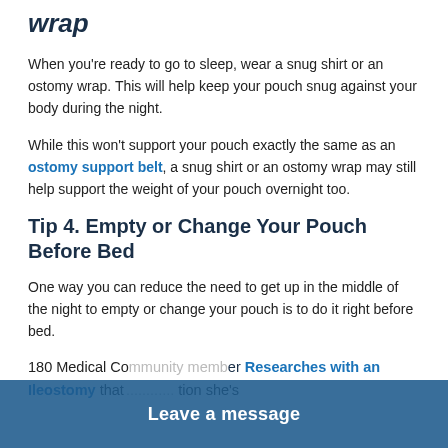wrap
When you're ready to go to sleep, wear a snug shirt or an ostomy wrap. This will help keep your pouch snug against your body during the night.
While this won't support your pouch exactly the same as an ostomy support belt, a snug shirt or an ostomy wrap may still help support the weight of your pouch overnight too.
Tip 4. Empty or Change Your Pouch Before Bed
One way you can reduce the need to get up in the middle of the night to empty or change your pouch is to do it right before bed.
180 Medical Co... Researches with an Ileostomy that ... tion she's